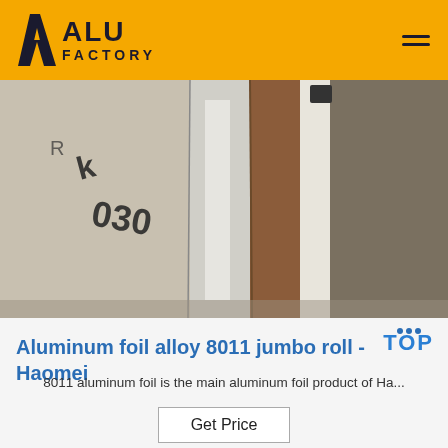ALU FACTORY
[Figure (photo): Close-up photo of aluminum foil jumbo rolls stacked vertically with handwritten markings visible]
Aluminum foil alloy 8011 jumbo roll - Haomei
8011 aluminum foil is the main aluminum foil product of Ha...
Get Price